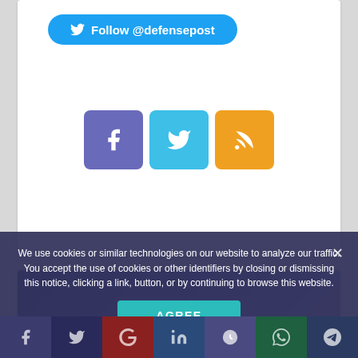[Figure (other): Twitter Follow button with Twitter bird logo, text: Follow @defensepost, cyan/blue rounded button]
[Figure (other): Three social media icon buttons: Facebook (purple), Twitter (blue), RSS (orange)]
[Figure (other): Advertisement banner: ADVERTISE WITH US | TheDefensePost logo, dark purple/blue gradient with aircraft silhouette]
We use cookies or similar technologies on our website to analyze our traffic. You accept the use of cookies or other identifiers by closing or dismissing this notice, clicking a link, button, or by continuing to browse this website.
[Figure (other): AGREE button in teal/cyan color]
[Figure (other): Bottom share bar with 7 social media icons: Facebook, Twitter, Google+, LinkedIn, Reddit, WhatsApp, Telegram]